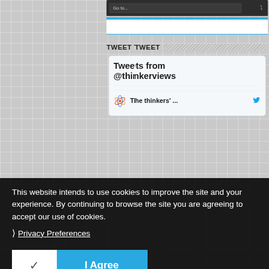[Figure (screenshot): Navigation dropdown bar with 'Go to...' text and down arrow chevron on dark background]
[Figure (screenshot): Blue horizontal divider bar below navigation]
[Figure (screenshot): White search input area with blue bottom border]
TWEET TWEET
[Figure (screenshot): Twitter widget showing 'Tweets from @thinkerviews' header with thinkerviews logo avatar and 'The thinkers' ...' tweet item with Twitter bird icon]
This website intends to use cookies to improve the site and your experience. By continuing to browse the site you are agreeing to accept our use of cookies.
❯ Privacy Preferences
[Figure (screenshot): Cookie consent buttons: checkmark button on white background and 'I Agree' button on blue background]